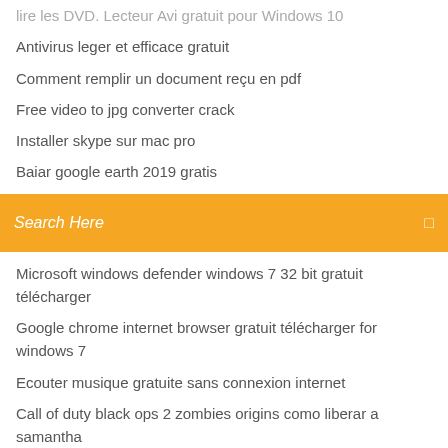lire les DVD. Lecteur Avi gratuit pour Windows 10
Antivirus leger et efficace gratuit
Comment remplir un document reçu en pdf
Free video to jpg converter crack
Installer skype sur mac pro
Baiar google earth 2019 gratis
[Figure (screenshot): Orange search bar with 'Search Here' placeholder text and a small icon on the right]
Microsoft windows defender windows 7 32 bit gratuit télécharger
Google chrome internet browser gratuit télécharger for windows 7
Ecouter musique gratuite sans connexion internet
Call of duty black ops 2 zombies origins como liberar a samantha
Free télécharger mozilla firefox 40
Meilleur logiciel gestion budget familial gratuit
Adobe flash player pour mac os sierra